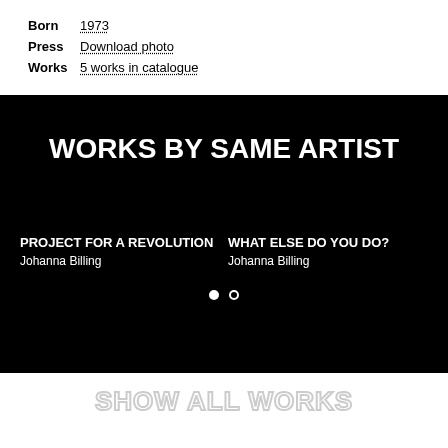Born  1973
Press  Download photo
Works  5 works in catalogue
WORKS BY SAME ARTIST
PROJECT FOR A REVOLUTION
Johanna Billing
WHAT ELSE DO YOU DO?
Johanna Billing
SHOW ALL WORKS